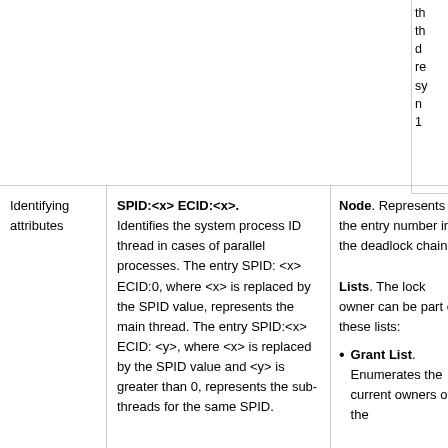th th d re sy n 1
Identifying attributes
SPID:<x> ECID:<x>. Identifies the system process ID thread in cases of parallel processes. The entry SPID: <x> ECID:0, where <x> is replaced by the SPID value, represents the main thread. The entry SPID:<x> ECID: <y>, where <x> is replaced by the SPID value and <y> is greater than 0, represents the sub-threads for the same SPID.
Node. Represents the entry number in the deadlock chain.
Lists. The lock owner can be part of these lists:
Grant List. Enumerates the current owners of the
d R p a (s (1 w d n th u A b d